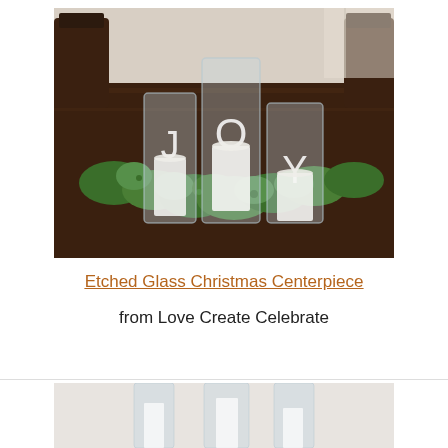[Figure (photo): A dining table centerpiece featuring three tall glass hurricane vases etched with the letters J, O, Y, each containing a white pillar candle, surrounded by a green boxwood garland runner on a dark wood table. Chairs visible in background.]
Etched Glass Christmas Centerpiece
from Love Create Celebrate
[Figure (photo): Partial bottom photo showing glass vases with candles, light background, partially cut off.]